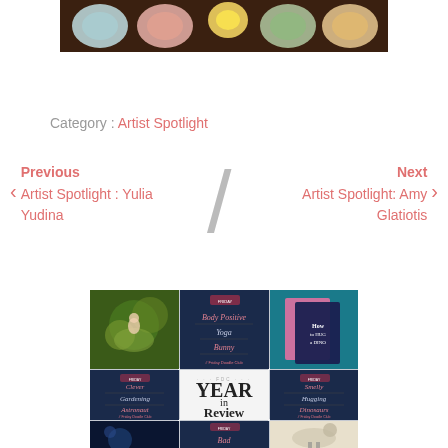[Figure (photo): Top portion of a photo showing colorful paint palette or watercolor paints in circular dishes on a dark wooden surface]
Category : Artist Spotlight
Previous
Artist Spotlight : Yulia Yudina
Next
Artist Spotlight: Amy Glatiotis
[Figure (photo): A collage grid image showing Friday Doodle Club year in review 2022, with multiple dark navy panels showing categories: Body Positive, Yoga, Bunny (top center), Clever, Gardening, Astronaut (mid left), Year in Review 2022 (mid center), Smelly, Hugging, Dinosaurs (mid right), and partial bottom row with Bad (bottom center)]